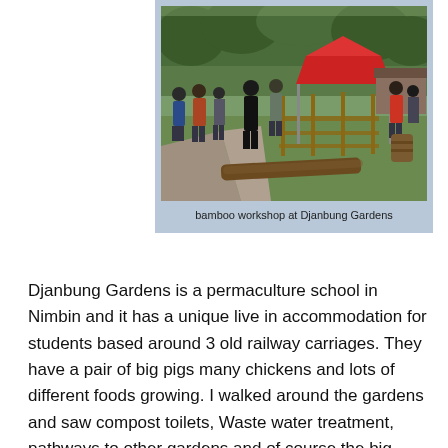[Figure (photo): Outdoor bamboo workshop at Djanbung Gardens. People gathered on grass near a red canopy tent and wooden fence structure, with trees in background.]
bamboo workshop at Djanbung Gardens
Djanbung Gardens is a permaculture school in Nimbin and it has a unique live in accommodation for students based around 3 old railway carriages. They have a pair of big pigs many chickens and lots of different foods growing. I walked around the gardens and saw compost toilets, Waste water treatment, pathways to other gardens and of course the big kitchen. I met some really nice people and had a great day.